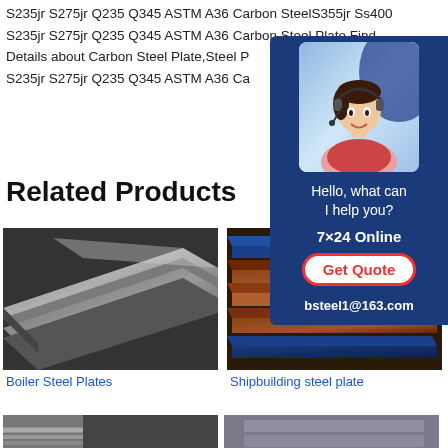S235jr S275jr Q235 Q345 ASTM A36 Carbon SteelS355jr Ss400 S235jr S275jr Q235 Q345 ASTM A36 Carbon Steel Plate,Find Details about Carbon Steel Plate,Steel P S235jr S275jr Q235 Q345 ASTM A36 Ca
[Figure (photo): Customer service representative wearing a headset, chat widget with blue background showing 'Hello, what can I help you?', '7×24 Online', 'Get Quote' button, and 'bsteel1@163.com']
Related Products
[Figure (photo): Boiler steel plates - dark metallic stacked steel plates]
Boiler Steel Plates
[Figure (photo): Shipbuilding steel plate - stacked rust-colored and blue steel plates]
Shipbuilding steel plate
[Figure (photo): Partial bottom product images visible]
[Figure (photo): Partial bottom product images visible]